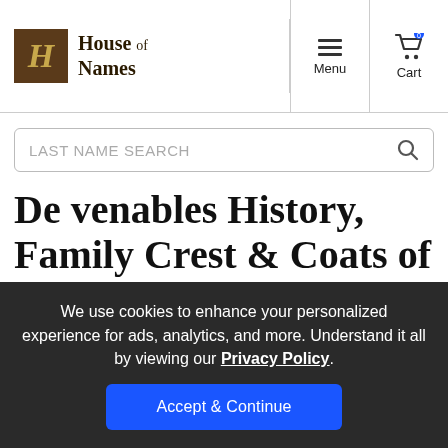House of Names — Menu | Cart
LAST NAME SEARCH
De venables History, Family Crest & Coats of Arms
We use cookies to enhance your personalized experience for ads, analytics, and more. Understand it all by viewing our Privacy Policy. Accept & Continue